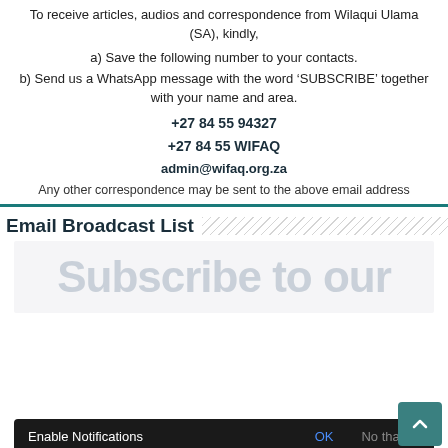To receive articles, audios and correspondence from Wilaqui Ulama (SA), kindly,
a) Save the following number to your contacts.
b) Send us a WhatsApp message with the word 'SUBSCRIBE' together with your name and area.
+27 84 55 94327
+27 84 55 WIFAQ
admin@wifaq.org.za
Any other correspondence may be sent to the above email address
Email Broadcast List
[Figure (screenshot): Subscribe form watermark text visible in a light grey box]
Enable Notifications  OK  No thanks